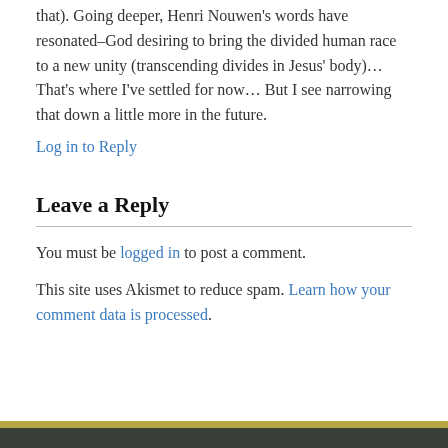that). Going deeper, Henri Nouwen's words have resonated–God desiring to bring the divided human race to a new unity (transcending divides in Jesus' body)… That's where I've settled for now… But I see narrowing that down a little more in the future.
Log in to Reply
Leave a Reply
You must be logged in to post a comment.
This site uses Akismet to reduce spam. Learn how your comment data is processed.